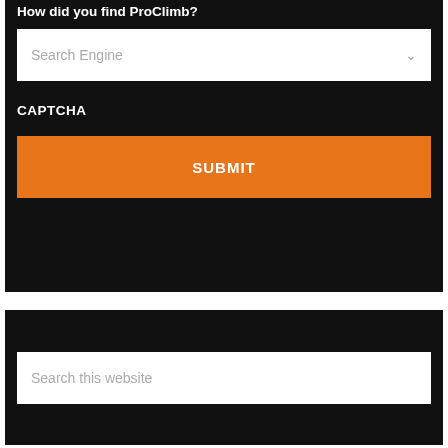How did you find ProClimb?
[Figure (screenshot): Dropdown input field showing 'Search Engine' placeholder text with a chevron arrow on the right]
CAPTCHA
[Figure (screenshot): Orange SUBMIT button]
[Figure (screenshot): Search input field with placeholder text 'Search this website']